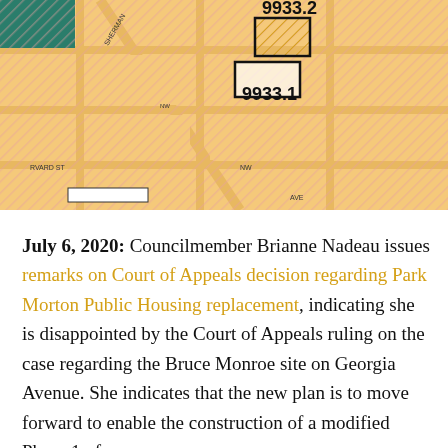[Figure (map): Zoning map showing parcels labeled 9933.2 and 9933.1 near Sherman Ave NW and Harvard St NW, with legend showing land use categories: Institutional (INST), Federal (FED), Local Public Facilities (LPUB), Parks Recreation and Open Space (PROS), Production & Technical Employment (PROTECH), Water, Mixed Uses.]
July 6, 2020: Councilmember Brianne Nadeau issues remarks on Court of Appeals decision regarding Park Morton Public Housing replacement, indicating she is disappointed by the Court of Appeals ruling on the case regarding the Bruce Monroe site on Georgia Avenue. She indicates that the new plan is to move forward to enable the construction of a modified Phase 1 of